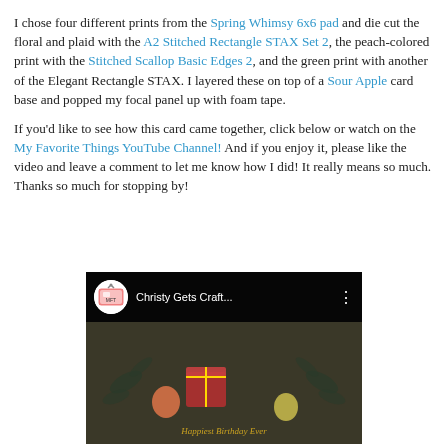I chose four different prints from the Spring Whimsy 6x6 pad and die cut the floral and plaid with the A2 Stitched Rectangle STAX Set 2, the peach-colored print with the Stitched Scallop Basic Edges 2, and the green print with another of the Elegant Rectangle STAX. I layered these on top of a Sour Apple card base and popped my focal panel up with foam tape.
If you'd like to see how this card came together, click below or watch on the My Favorite Things YouTube Channel! And if you enjoy it, please like the video and leave a comment to let me know how I did! It really means so much. Thanks so much for stopping by!
[Figure (screenshot): YouTube video embed thumbnail showing 'Christy Gets Craft...' channel with a birthday card featuring floral designs and a red YouTube play button in the center. Text at bottom reads 'Happiest Birthday Ever'.]